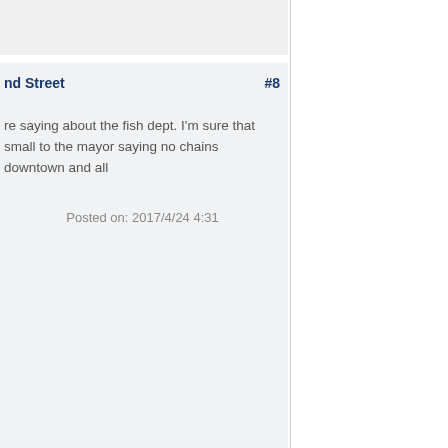nd Street
#8
re saying about the fish dept. I’m sure that small to the mayor saying no chains downtown and all
Posted on: 2017/4/24 4:31